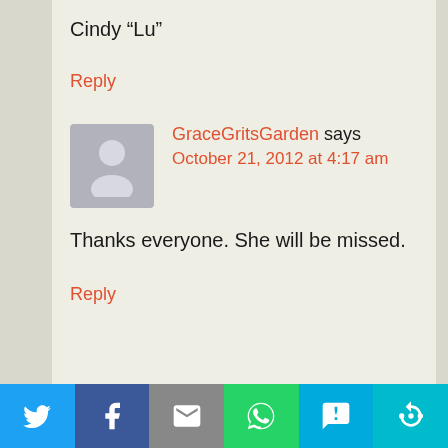Cindy “Lu”
Reply
GraceGritsGarden says
October 21, 2012 at 4:17 am
Thanks everyone. She will be missed.
Reply
[Figure (infographic): Social sharing bar with icons for Twitter, Facebook, Email, WhatsApp, SMS, and More]